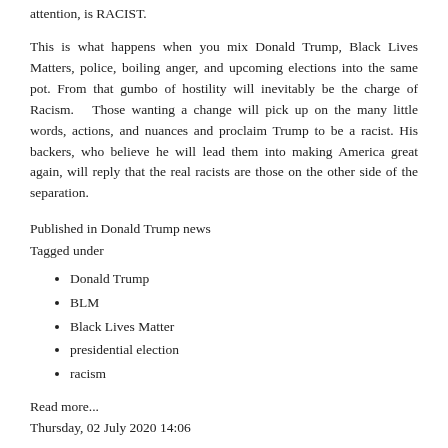attention, is RACIST.
This is what happens when you mix Donald Trump, Black Lives Matters, police, boiling anger, and upcoming elections into the same pot. From that gumbo of hostility will inevitably be the charge of Racism.  Those wanting a change will pick up on the many little words, actions, and nuances and proclaim Trump to be a racist. His backers, who believe he will lead them into making America great again, will reply that the real racists are those on the other side of the separation.
Published in Donald Trump news
Tagged under
Donald Trump
BLM
Black Lives Matter
presidential election
racism
Read more...
Thursday, 02 July 2020 14:06